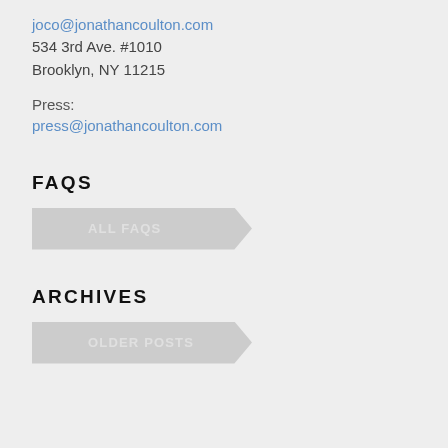joco@jonathancoulton.com
534 3rd Ave. #1010
Brooklyn, NY 11215
Press:
press@jonathancoulton.com
FAQS
ALL FAQS
ARCHIVES
OLDER POSTS